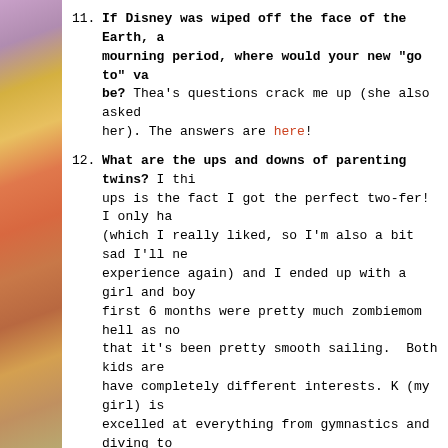11. If Disney was wiped off the face of the Earth, after a mourning period, where would your new "go to" vacation spot be? Thea's questions crack me up (she also asked her). The answers are here!
12. What are the ups and downs of parenting twins? I think one of the ups is the fact I got the perfect two-fer! I only had one pregnancy (which I really liked, so I'm also a bit sad I'll never experience again) and I ended up with a girl and boy. The first 6 months were pretty much zombiemom hell as no sleep, but after that it's been pretty smooth sailing. Both kids are great students and have completely different interests. K (my girl) is athletic and has excelled at everything from gymnastics and diving to track and soccer. D (my son) is into theater and music. He loves acting and is a great trombone player. Not having them both in sports is helpful in avoiding as many conflicts. Right now, they are both working on their driving hours to get their driver's licenses, which is a total trip. Not sure we will do when they start both wanting a car. I think the biggest downside is double cost for everything. We're looking at 2 cars at the same time, graduation parties at the same time, college at the same time. *runs off to start looking for a second job*
13. Hobbies outside of running. I'm not really a "hobbie" person because I don't have time. I've never been into scrapbooking... I do like to read - mostly mindless stuff like Janet Ev...